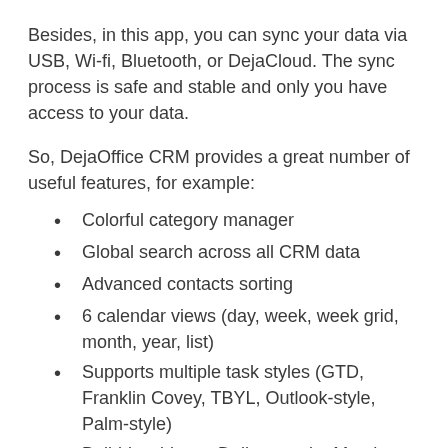Besides, in this app, you can sync your data via USB, Wi-fi, Bluetooth, or DejaCloud. The sync process is safe and stable and only you have access to your data.
So, DejaOffice CRM provides a great number of useful features, for example:
Colorful category manager
Global search across all CRM data
Advanced contacts sorting
6 calendar views (day, week, week grid, month, year, list)
Supports multiple task styles (GTD, Franklin Covey, TBYL, Outlook-style, Palm-style)
Build-in widgets: Daily agenda, Month view, Contacts list, Notes list